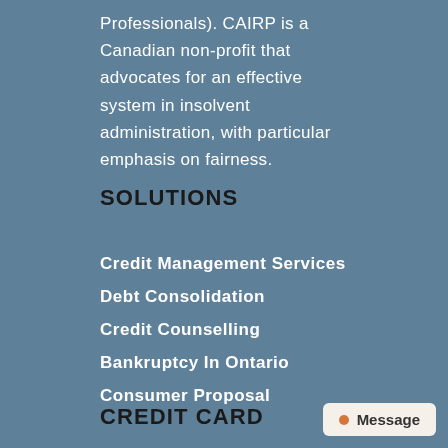Professionals). CAIRP is a Canadian non-profit that advocates for an effective system in insolvent administration, with particular emphasis on fairness.
SOLUTIONS
Credit Management Services
Debt Consolidation
Credit Counselling
Bankruptcy In Ontario
Consumer Proposal
CREDIT CARD